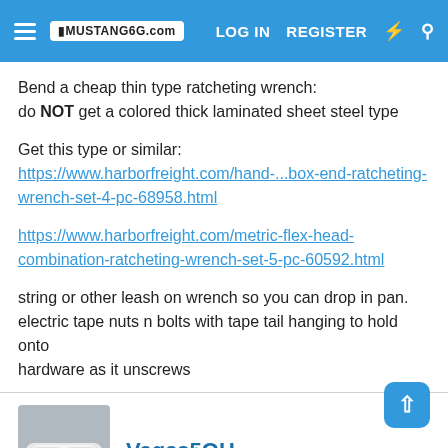Mustang6G.com — LOG IN | REGISTER
Bend a cheap thin type ratcheting wrench:
do NOT get a colored thick laminated sheet steel type
Get this type or similar:
https://www.harborfreight.com/hand-...box-end-ratcheting-wrench-set-4-pc-68958.html
https://www.harborfreight.com/metric-flex-head-combination-ratcheting-wrench-set-5-pc-60592.html
string or other leash on wrench so you can drop in pan.
electric tape nuts n bolts with tape tail hanging to hold onto hardware as it unscrews
Vegas5OH